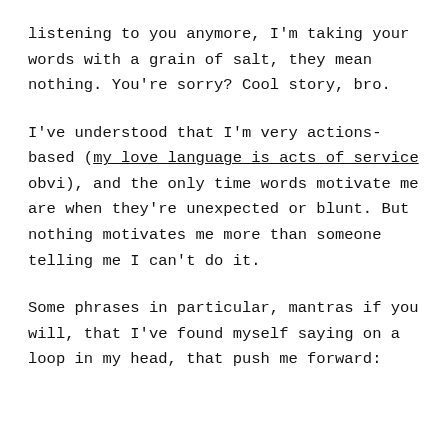listening to you anymore, I'm taking your words with a grain of salt, they mean nothing. You're sorry? Cool story, bro.
I've understood that I'm very actions-based (my love language is acts of service obvi), and the only time words motivate me are when they're unexpected or blunt. But nothing motivates me more than someone telling me I can't do it.
Some phrases in particular, mantras if you will, that I've found myself saying on a loop in my head, that push me forward: